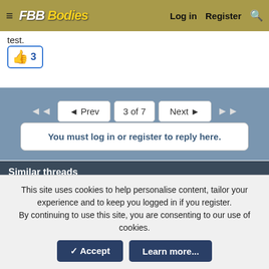≡  FBB BodIes  Log in  Register  🔍
test.
[Figure (other): Like button with thumbs up icon and count of 3]
◄◄  ◄ Prev  3 of 7  Next ►  ►►
You must log in or register to reply here.
Similar threads
Carb Tuning problem
Odmark91 · Fuel and Air Systems
Replies: 12 · Apr 25, 2022
Too lean at wot?
Jenas Nordstrom · Fuel and Air Systems
This site uses cookies to help personalise content, tailor your experience and to keep you logged in if you register.
By continuing to use this site, you are consenting to our use of cookies.
✓ Accept  Learn more...